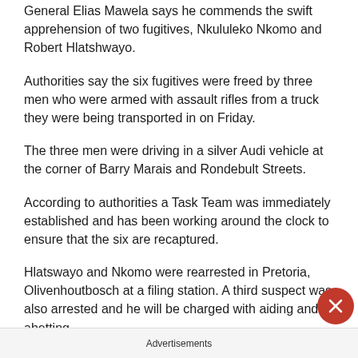General Elias Mawela says he commends the swift apprehension of two fugitives, Nkululeko Nkomo and Robert Hlatshwayo.
Authorities say the six fugitives were freed by three men who were armed with assault rifles from a truck they were being transported in on Friday.
The three men were driving in a silver Audi vehicle at the corner of Barry Marais and Rondebult Streets.
According to authorities a Task Team was immediately established and has been working around the clock to ensure that the six are recaptured.
Hlatswayo and Nkomo were rearrested in Pretoria, Olivenhoutbosch at a filing station. A third suspect was also arrested and he will be charged with aiding and abetting.
The Provincial Commissioner has thanked the public for all the
Advertisements